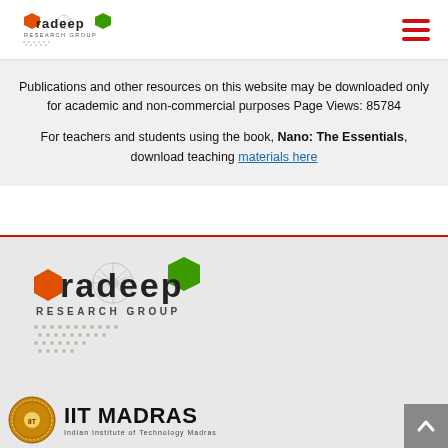[Figure (logo): Pradeep Research Group logo - small version in header]
[Figure (logo): Hamburger menu icon (three red horizontal lines)]
Publications and other resources on this website may be downloaded only for academic and non-commercial purposes Page Views: 85784
For teachers and students using the book, Nano: The Essentials, download teaching materials here
[Figure (logo): Pradeep Research Group logo - large version in footer]
[Figure (logo): IIT Madras logo with circular emblem and IIT MADRAS text]
[Figure (other): Scroll to top button - grey square with upward arrow]